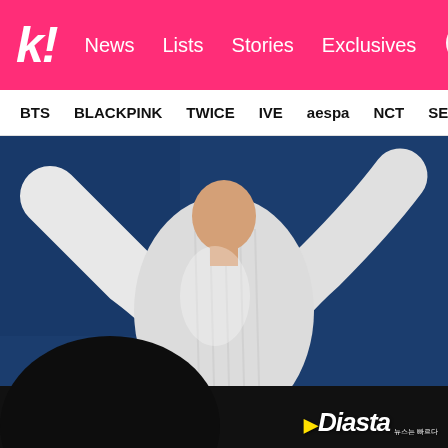k! News Lists Stories Exclusives
BTS BLACKPINK TWICE IVE aespa NCT SEVE
[Figure (photo): K-pop performer in white striped long-sleeve top and blue jeans with arms outstretched on stage, with a dark audience silhouette in the foreground and blue stage lighting background. A watermark reading 'Diasta' with Korean text '뉴스는 빠르다' appears at the bottom right.]